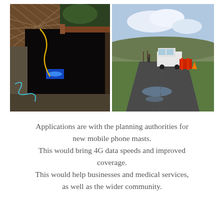[Figure (photo): Two side-by-side photos: left shows an open underground access pit with cables and blue conduit visible; right shows a rural single-track road with a white van and red barriers, puddles on the road, and open moorland.]
Applications are with the planning authorities for new mobile phone masts. This would bring 4G data speeds and improved coverage. This would help businesses and medical services, as well as the wider community.